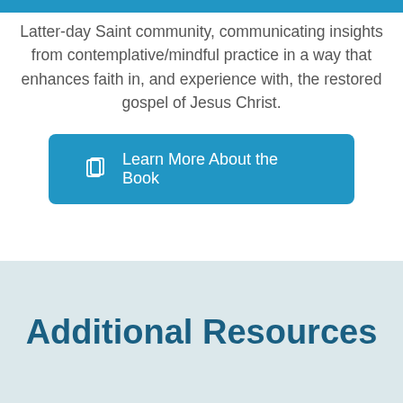Latter-day Saint community, communicating insights from contemplative/mindful practice in a way that enhances faith in, and experience with, the restored gospel of Jesus Christ.
[Figure (other): Blue button with book icon and text 'Learn More About the Book']
Additional Resources